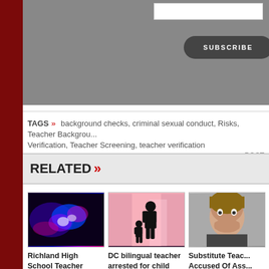[Figure (screenshot): Subscribe button area with gray background and input field]
TAGS » background checks, criminal sexual conduct, Risks, Teacher Background Verification, Teacher Screening, teacher verification
RELATED »
[Figure (photo): Police car with flashing blue and red lights at night]
Richland High School Teacher Arrested for Child Molestation
[Figure (photo): Silhouette of adult and child in pink-lit room]
DC bilingual teacher arrested for child sex abuse
[Figure (photo): Child with hand covering mouth, distressed expression]
Substitute Teacher Accused Of Assaulting Young Relative Despite Past Allegations